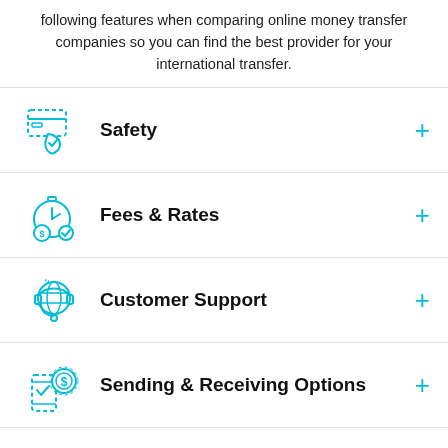following features when comparing online money transfer companies so you can find the best provider for your international transfer.
Safety
Fees & Rates
Customer Support
Sending & Receiving Options